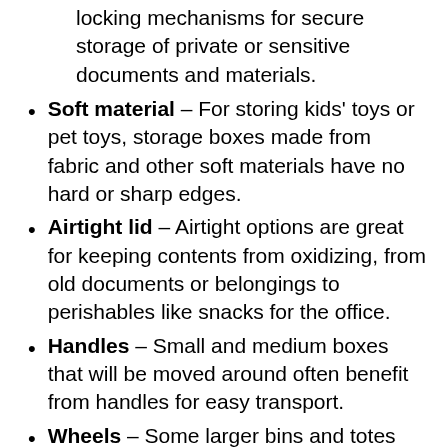locking mechanisms for secure storage of private or sensitive documents and materials.
Soft material – For storing kids' toys or pet toys, storage boxes made from fabric and other soft materials have no hard or sharp edges.
Airtight lid – Airtight options are great for keeping contents from oxidizing, from old documents or belongings to perishables like snacks for the office.
Handles – Small and medium boxes that will be moved around often benefit from handles for easy transport.
Wheels – Some larger bins and totes feature smooth-rolling casters for easy mobility so you can rearrange the